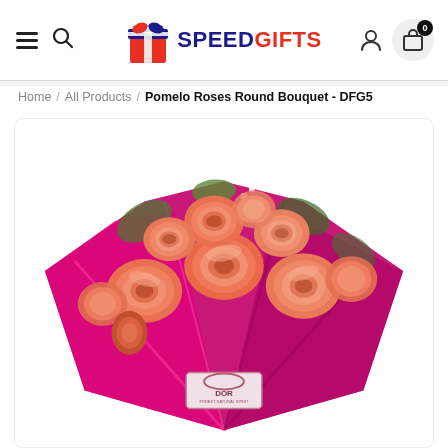SPEEDGIFTS
Home / All Products / Pomelo Roses Round Bouquet - DFG5
[Figure (photo): A bouquet of orange/salmon roses wrapped in shiny magenta/fuchsia paper with small white filler flowers and green foliage, placed against a white background. A small logo tag reads DOR at the bottom of the bouquet.]